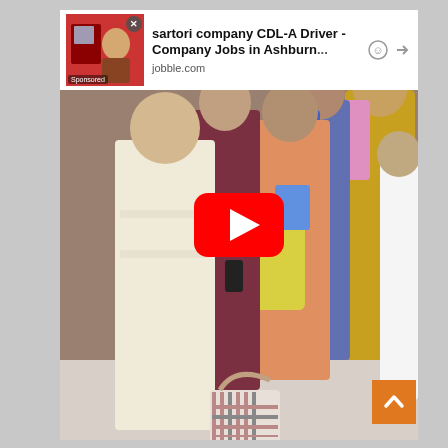[Figure (screenshot): A screenshot of a webpage with a YouTube video thumbnail showing a group of women dressed in traditional South Asian clothing (salwar kameez) standing in what appears to be an indoor setting. There is a YouTube play button overlay in the center of the video. At the top of the video area is an advertisement banner for 'sartori company CDL-A Driver - Company Jobs in Ashburn...' from jobble.com with a Sponsored label and a close button. In the bottom right corner is an orange scroll-to-top button with an upward chevron arrow.]